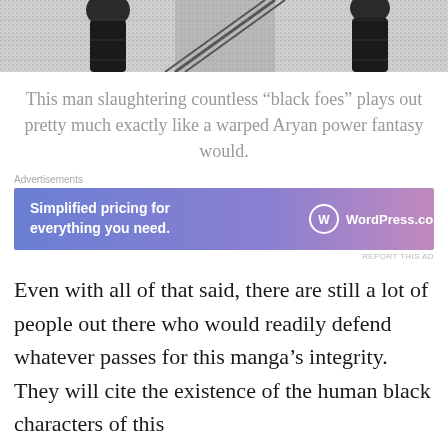[Figure (illustration): Black and white manga illustration showing dark robotic or armored figures on a textured background, cropped at top of page]
This man slaughtering countless “black foes” plays out pretty much exactly like a warped Aryan power fantasy would.
[Figure (screenshot): WordPress.com advertisement banner with gradient blue-to-pink background reading 'Simplified pricing for everything you need. WordPress.com']
REPORT THIS AD
Even with all of that said, there are still a lot of people out there who would readily defend whatever passes for this manga’s integrity. They will cite the existence of the human black characters of this